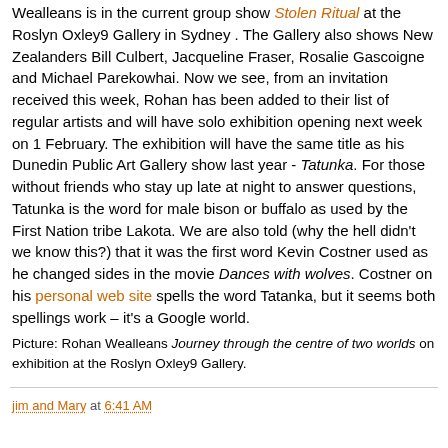Wealleans is in the current group show Stolen Ritual at the Roslyn Oxley9 Gallery in Sydney . The Gallery also shows New Zealanders Bill Culbert, Jacqueline Fraser, Rosalie Gascoigne and Michael Parekowhai. Now we see, from an invitation received this week, Rohan has been added to their list of regular artists and will have solo exhibition opening next week on 1 February. The exhibition will have the same title as his Dunedin Public Art Gallery show last year - Tatunka. For those without friends who stay up late at night to answer questions, Tatunka is the word for male bison or buffalo as used by the First Nation tribe Lakota. We are also told (why the hell didn't we know this?) that it was the first word Kevin Costner used as he changed sides in the movie Dances with wolves. Costner on his personal web site spells the word Tatanka, but it seems both spellings work – it's a Google world.
Picture: Rohan Wealleans Journey through the centre of two worlds on exhibition at the Roslyn Oxley9 Gallery.
jim and Mary at 6:41 AM